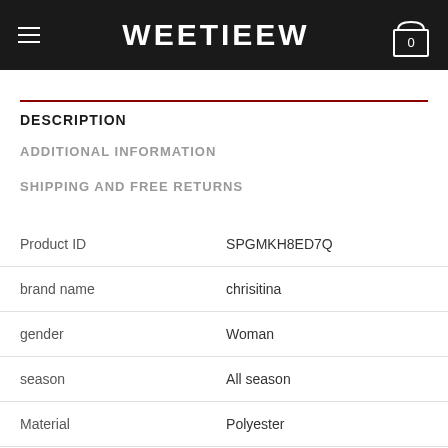WEETIEEW
DESCRIPTION
ADDITIONAL INFORMATION
SHIPPING AND FREE RETURNS
|  |  |
| --- | --- |
| Product ID | SPGMKH8ED7Q |
| brand name | chrisitina |
| gender | Woman |
| season | All season |
| Material | Polyester |